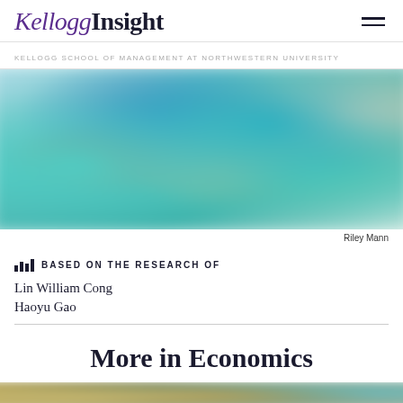KelloggInsight
KELLOGG SCHOOL OF MANAGEMENT AT NORTHWESTERN UNIVERSITY
[Figure (photo): Blurry abstract photo with teal, blue, and warm tones, likely depicting people or objects in motion]
Riley Mann
BASED ON THE RESEARCH OF
Lin William Cong
Haoyu Gao
More in Economics
[Figure (photo): Bottom strip showing a blurry image with olive/gold and teal tones]